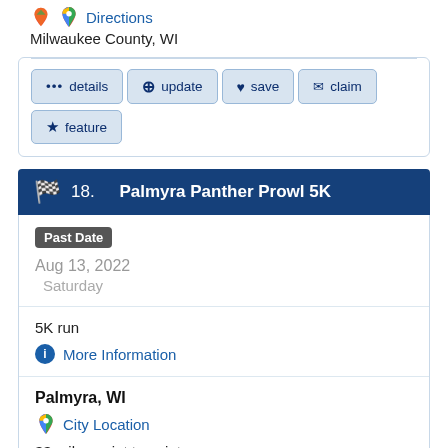Directions
Milwaukee County, WI
... details
+ update
♥ save
✉ claim
★ feature
18. Palmyra Panther Prowl 5K
Past Date
Aug 13, 2022
Saturday
5K run
More Information
Palmyra, WI
City Location
33 miles point to point
Directions